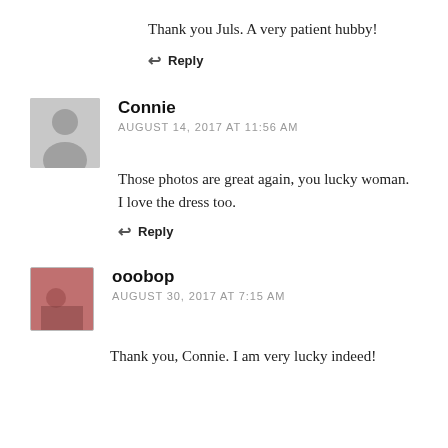Thank you Juls. A very patient hubby!
↩ Reply
Connie
AUGUST 14, 2017 AT 11:56 AM
Those photos are great again, you lucky woman. I love the dress too.
↩ Reply
ooobop
AUGUST 30, 2017 AT 7:15 AM
Thank you, Connie. I am very lucky indeed!